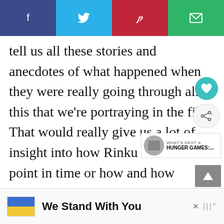[Figure (other): Social sharing bar with four buttons: Facebook (dark blue), Twitter (light blue), Pinterest (red), Email (green)]
tell us all these stories and anecdotes of what happened when they were really going through all this that we’re portraying in the film. That would really give us a lot of insight into how Rinku was at the point in time or how and how Aasif’s character was, etc. Just real insights into how these people were feeling when everything was unraveling in front of them.
[Figure (infographic): Advertisement banner: Ukrainian flag icon on left, bold text 'We Stand With You', close button X, and logo icon on right]